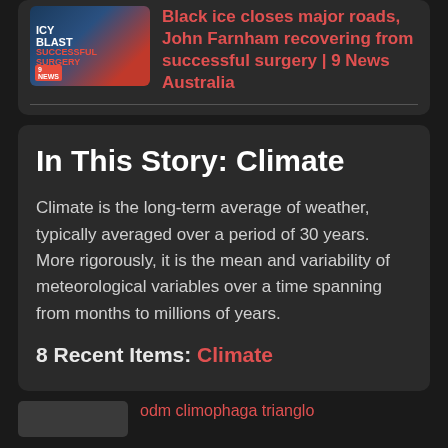[Figure (screenshot): News thumbnail showing ICY BLAST SUCCESSFUL SURGERY with Channel 9 News logo and a person in a suit]
Black ice closes major roads, John Farnham recovering from successful surgery | 9 News Australia
In This Story: Climate
Climate is the long-term average of weather, typically averaged over a period of 30 years. More rigorously, it is the mean and variability of meteorological variables over a time spanning from months to millions of years.
8 Recent Items: Climate
[Figure (screenshot): Bottom thumbnail preview image]